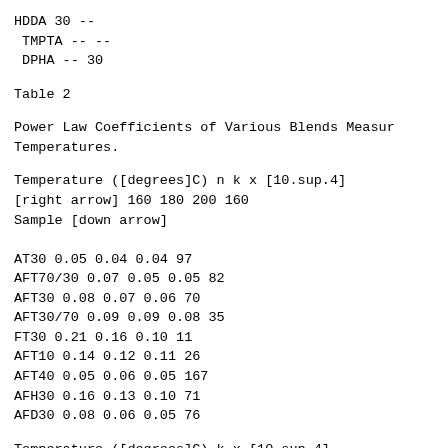HDDA 30 --
 TMPTA -- --
 DPHA -- 30
Table 2
Power Law Coefficients of Various Blends Measured at Different Temperatures.
| Sample | Temperature ([degrees]C) n k x [10.sup.4] [right arrow] 160 180 200 160 |
| --- | --- |
| AT30 | 0.05 | 0.04 | 0.04 | 97 |
| AFT70/30 | 0.07 | 0.05 | 0.05 | 82 |
| AFT30 | 0.08 | 0.07 | 0.06 | 70 |
| AFT30/70 | 0.09 | 0.09 | 0.08 | 35 |
| FT30 | 0.21 | 0.16 | 0.10 | 11 |
| AFT10 | 0.14 | 0.12 | 0.11 | 26 |
| AFT40 | 0.05 | 0.06 | 0.05 | 167 |
| AFH30 | 0.16 | 0.13 | 0.10 | 71 |
| AFD30 | 0.08 | 0.06 | 0.05 | 76 |
Temperature ([degrees]C) k x [10.sup.4]
[right arrow] 180 200